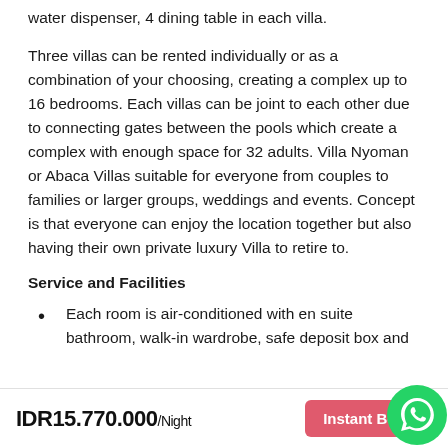water dispenser, 4 dining table in each villa.
Three villas can be rented individually or as a combination of your choosing, creating a complex up to 16 bedrooms. Each villas can be joint to each other due to connecting gates between the pools which create a complex with enough space for 32 adults. Villa Nyoman or Abaca Villas suitable for everyone from couples to families or larger groups, weddings and events. Concept is that everyone can enjoy the location together but also having their own private luxury Villa to retire to.
Service and Facilities
Each room is air-conditioned with en suite bathroom, walk-in wardrobe, safe deposit box and
IDR15.770.000/Night  Instant Book